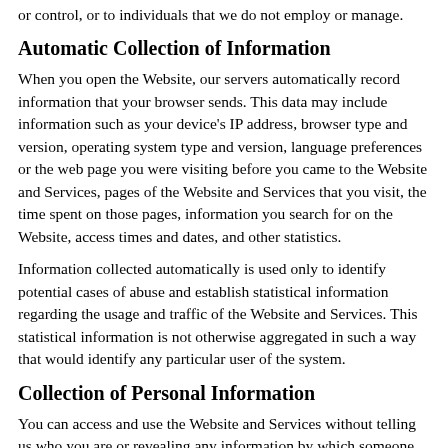or control, or to individuals that we do not employ or manage.
Automatic Collection of Information
When you open the Website, our servers automatically record information that your browser sends. This data may include information such as your device's IP address, browser type and version, operating system type and version, language preferences or the web page you were visiting before you came to the Website and Services, pages of the Website and Services that you visit, the time spent on those pages, information you search for on the Website, access times and dates, and other statistics.
Information collected automatically is used only to identify potential cases of abuse and establish statistical information regarding the usage and traffic of the Website and Services. This statistical information is not otherwise aggregated in such a way that would identify any particular user of the system.
Collection of Personal Information
You can access and use the Website and Services without telling us who you are or revealing any information by which someone could identify you as a specific identifiable individual. If, however,